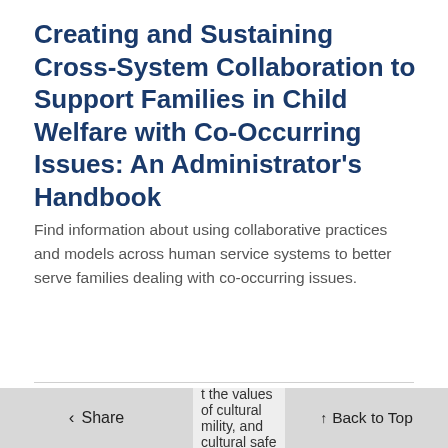Creating and Sustaining Cross-System Collaboration to Support Families in Child Welfare with Co-Occurring Issues: An Administrator's Handbook
Find information about using collaborative practices and models across human service systems to better serve families dealing with co-occurring issues.
📹 Video
Culturally Responsive Engagement and Partnership
t the values of cultural mility, and cultural safe